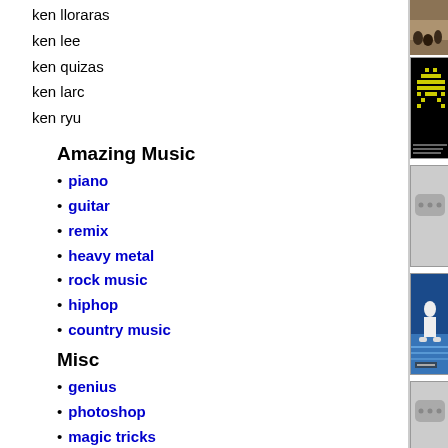ken lloraras
ken lee
ken quizas
ken larc
ken ryu
Amazing Music
piano
guitar
remix
heavy metal
rock music
hiphop
country music
Misc
genius
photoshop
magic tricks
Comedy
funny clips
standup comedy
mad tv
snl
Anime Videos
Full Anime Episodes
TV & Movies
adult swim
[Figure (photo): Video thumbnail - audience photo (top right, partially visible)]
[Figure (photo): Video thumbnail - Ken Ishii Fl... space invaders style yellow pixel art on black background]
Ken Ishii Fl...
ishii, ken
[Figure (photo): Video thumbnail placeholder - Larry Holm... grey with three dots]
Larry Holm...
box, boxing, fig...
[Figure (photo): Video thumbnail - Down Rakin... reggaeton dancer in white on lit floor]
Down Rakin...
reggaeton
[Figure (photo): Video thumbnail placeholder - Turn Ken H... grey with three dots]
Turn Ken H...
hirai, ken